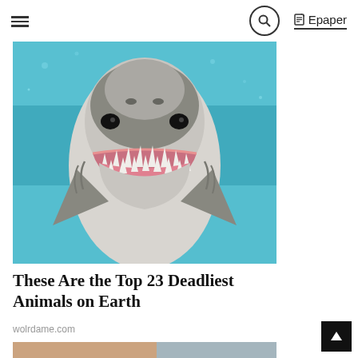☰  🔍  Epaper
[Figure (photo): Close-up photo of a great white shark facing the camera underwater, showing teeth and gums, teal blue water background]
These Are the Top 23 Deadliest Animals on Earth
wolrdame.com
[Figure (photo): Close-up photo of a person smiling while a gloved hand (blue latex glove) holds a dental item near their teeth]